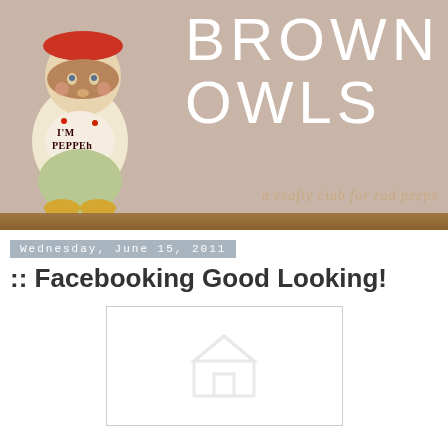[Figure (photo): Blog header banner with a vintage ceramic figurine of a child wearing a red hat holding a 'I'M PEPPER' sign, set against a beige/tan background. To the right is large white text reading 'BROWN OWLS' with a subtitle 'a crafty club for rad peeps'. A wooden shelf runs along the bottom.]
Wednesday, June 15, 2011
:: Facebooking Good Looking!
[Figure (screenshot): A white box with a light grey border containing a faint Facebook logo/icon in the center, representing an embedded Facebook widget or image placeholder.]